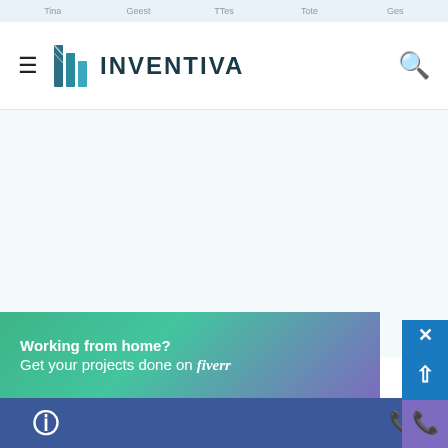Ticker bar with navigation items: Tina, Geest, TTes, Tote, Ges
[Figure (logo): Inventiva logo with teal building/bar chart icon and bold uppercase INVENTIVA text]
Working from home? Get your projects done on fiverr
Facebook icon | Phone icon bottom navigation bar